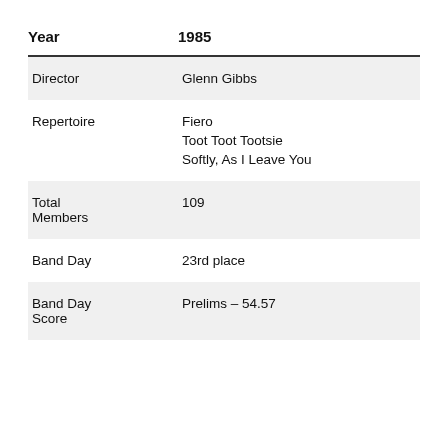| Field | Value |
| --- | --- |
| Year | 1985 |
| Director | Glenn Gibbs |
| Repertoire | Fiero
Toot Toot Tootsie
Softly, As I Leave You |
| Total Members | 109 |
| Band Day | 23rd place |
| Band Day Score | Prelims – 54.57 |